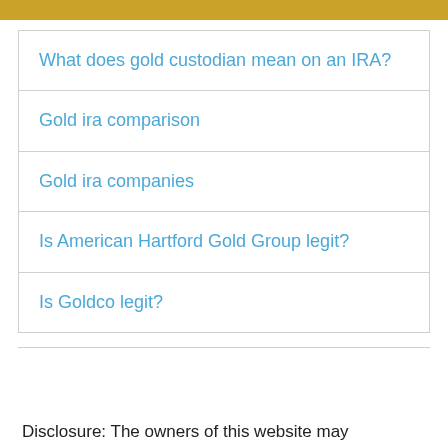What does gold custodian mean on an IRA?
Gold ira comparison
Gold ira companies
Is American Hartford Gold Group legit?
Is Goldco legit?
Disclosure: The owners of this website may